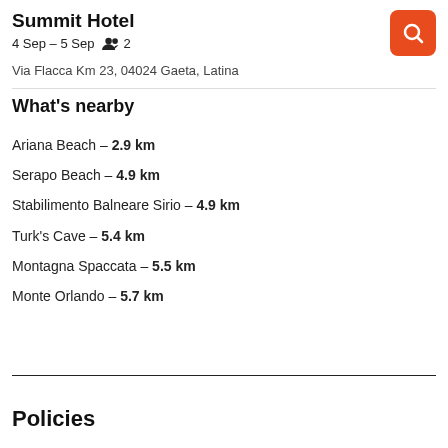Summit Hotel
4 Sep – 5 Sep   2
Via Flacca Km 23, 04024 Gaeta, Latina
What's nearby
Ariana Beach – 2.9 km
Serapo Beach – 4.9 km
Stabilimento Balneare Sirio – 4.9 km
Turk's Cave – 5.4 km
Montagna Spaccata – 5.5 km
Monte Orlando – 5.7 km
Policies